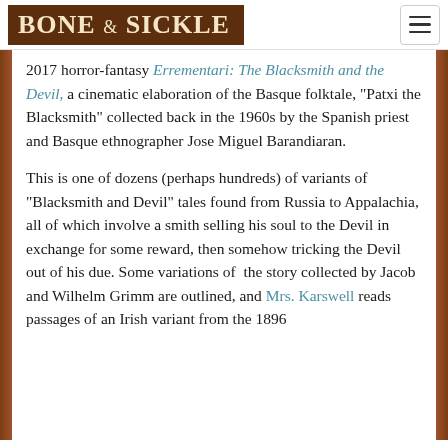BONE & SICKLE
2017 horror-fantasy Errementari: The Blacksmith and the Devil, a cinematic elaboration of the Basque folktale, “Patxi the Blacksmith” collected back in the 1960s by the Spanish priest and Basque ethnographer Jose Miguel Barandiaran.
This is one of dozens (perhaps hundreds) of variants of “Blacksmith and Devil” tales found from Russia to Appalachia, all of which involve a smith selling his soul to the Devil in exchange for some reward, then somehow tricking the Devil out of his due. Some variations of the story collected by Jacob and Wilhelm Grimm are outlined, and Mrs. Karswell reads passages of an Irish variant from the 1896